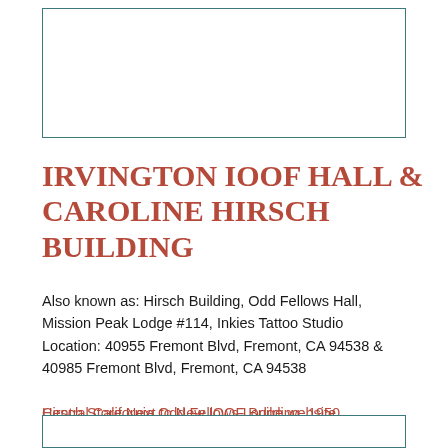[Figure (other): Empty bordered rectangle placeholder for an image at the top of the page]
IRVINGTON IOOF HALL & CAROLINE HIRSCH BUILDING
Also known as: Hirsch Building, Odd Fellows Hall, Mission Peak Lodge #114, Inkies Tattoo Studio
Location: 40955 Fremont Blvd, Fremont, CA 94538 & 40985 Fremont Blvd, Fremont, CA 94538
Central California Odd Fellows Lodge website
Inkie's Tattoo website
Hirsch Store Next to New IOOF Building, 1950
[Figure (other): Empty bordered rectangle placeholder for an image at the bottom of the page]